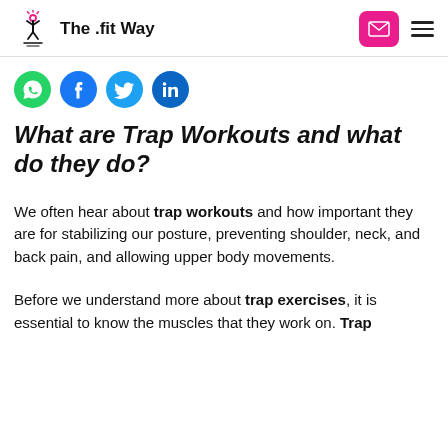The .fit Way
[Figure (other): Social share icons: WhatsApp (green), Facebook (dark blue), Twitter (light blue), LinkedIn (blue)]
What are Trap Workouts and what do they do?
We often hear about trap workouts and how important they are for stabilizing our posture, preventing shoulder, neck, and back pain, and allowing upper body movements.
Before we understand more about trap exercises, it is essential to know the muscles that they work on. Trap